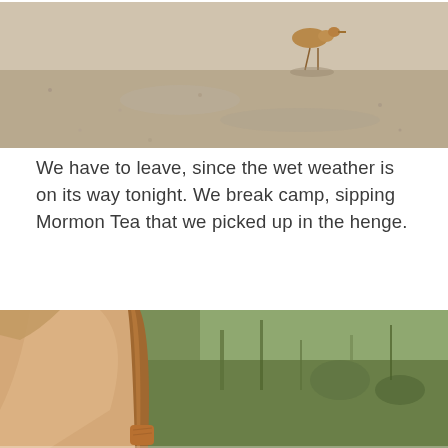[Figure (photo): Partial top photo showing a bird on a gravelly road surface with shadow visible]
We have to leave, since the wet weather is on its way tonight. We break camp, sipping Mormon Tea that we picked up in the henge.
[Figure (photo): Close-up photo of a person's arm/shoulder holding a walking stick, with green shrubby vegetation in the background]